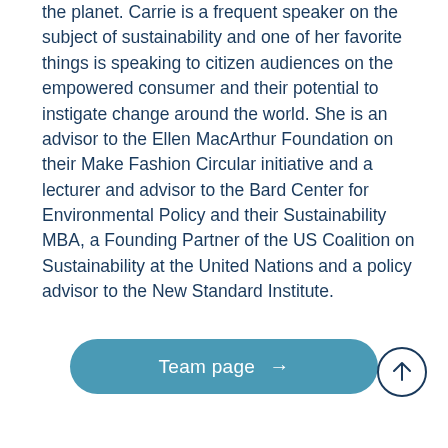the planet.  Carrie is a frequent speaker on the subject of sustainability and one of her favorite things is speaking to citizen audiences on the empowered consumer and their potential to instigate change around the world.  She is an advisor to the Ellen MacArthur Foundation on their Make Fashion Circular initiative and a lecturer and advisor to the Bard Center for Environmental Policy and their Sustainability MBA, a Founding Partner of the US Coalition on Sustainability at the United Nations and a policy advisor to the New Standard Institute.
[Figure (other): A rounded rectangular button with teal/blue background reading 'Team page' with a right arrow, and a circular up-arrow button to the right]